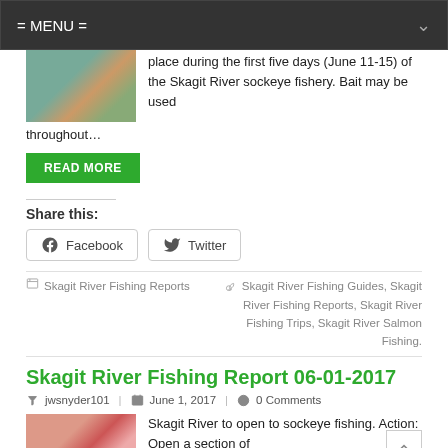= MENU =
place during the first five days (June 11-15) of the Skagit River sockeye fishery. Bait may be used throughout…
READ MORE
Share this:
Facebook
Twitter
Skagit River Fishing Reports
Skagit River Fishing Guides, Skagit River Fishing Reports, Skagit River Fishing Trips, Skagit River Salmon Fishing.
Skagit River Fishing Report 06-01-2017
jwsnyder101 | June 1, 2017 | 0 Comments
Skagit River to open to sockeye fishing. Action: Open a section of